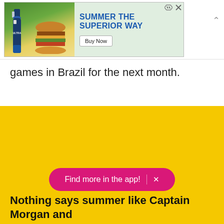[Figure (other): Advertisement banner for Michelob ULTRA beer with burger image and text 'SUMMER THE SUPERIOR WAY' with a 'Buy Now' button]
games in Brazil for the next month.
[Figure (other): Yellow background section with a pink 'Find more in the app!' button and partial text 'Nothing says summer like Captain Morgan and']
Nothing says summer like Captain Morgan and